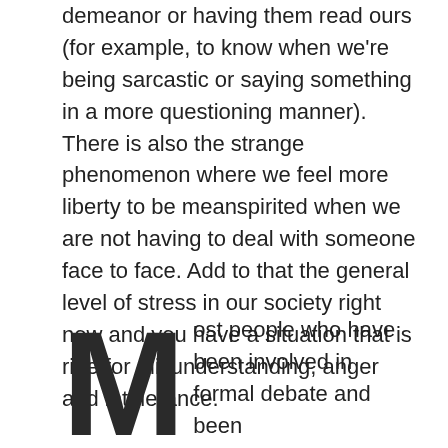demeanor or having them read ours (for example, to know when we're being sarcastic or saying something in a more questioning manner). There is also the strange phenomenon where we feel more liberty to be meanspirited when we are not having to deal with someone face to face. Add to that the general level of stress in our society right now and you have a situation that is ripe for misunderstanding, anger and intolerance.
Most people who have been involved in formal debate and been